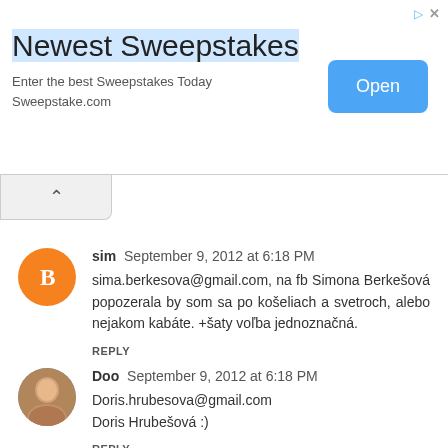[Figure (other): Advertisement banner: 'Newest Sweepstakes' with subtitle 'Enter the best Sweepstakes Today Sweepstake.com' and an 'Open' button. Icons for ad triangle and close X in top right.]
sim  September 9, 2012 at 6:18 PM
sima.berkesova@gmail.com, na fb Simona Berkešová popozerala by som sa po košeliach a svetroch, alebo nejakom kabáte. +šaty voľba jednoznačná.
REPLY
Doo  September 9, 2012 at 6:18 PM
Doris.hrubesova@gmail.com
Doris Hrubešová :)
REPLY